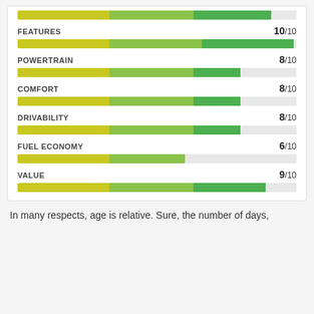[Figure (bar-chart): Category Ratings]
In many respects, age is relative. Sure, the number of days,